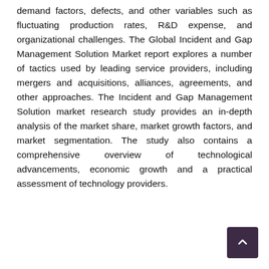demand factors, defects, and other variables such as fluctuating production rates, R&D expense, and organizational challenges. The Global Incident and Gap Management Solution Market report explores a number of tactics used by leading service providers, including mergers and acquisitions, alliances, agreements, and other approaches. The Incident and Gap Management Solution market research study provides an in-depth analysis of the market share, market growth factors, and market segmentation. The study also contains a comprehensive overview of technological advancements, economic growth and a practical assessment of technology providers.